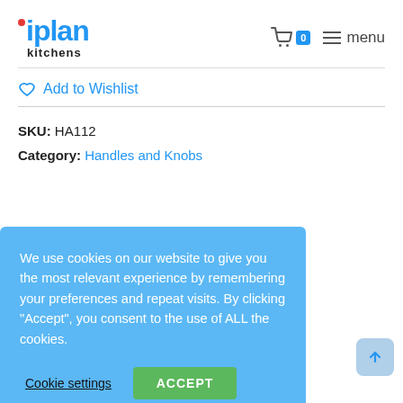iplan kitchens — cart 0 — menu
♡ Add to Wishlist
SKU: HA112
Category: Handles and Knobs
We use cookies on our website to give you the most relevant experience by remembering your preferences and repeat visits. By clicking "Accept", you consent to the use of ALL the cookies.
Cookie settings   ACCEPT